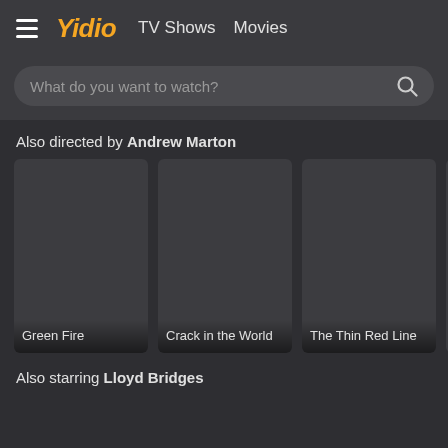≡ Yidio  TV Shows  Movies
What do you want to watch?
Also directed by Andrew Marton
[Figure (screenshot): Movie card for Green Fire - dark placeholder poster]
[Figure (screenshot): Movie card for Crack in the World - dark placeholder poster]
[Figure (screenshot): Movie card for The Thin Red Line - dark placeholder poster]
[Figure (screenshot): Partially visible movie card (cropped)]
Also starring Lloyd Bridges